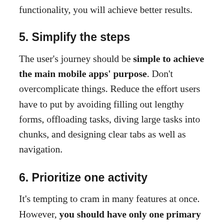functionality, you will achieve better results.
5. Simplify the steps
The user’s journey should be simple to achieve the main mobile apps’ purpose. Don’t overcomplicate things. Reduce the effort users have to put by avoiding filling out lengthy forms, offloading tasks, diving large tasks into chunks, and designing clear tabs as well as navigation.
6. Prioritize one activity
It’s tempting to cram in many features at once. However, you should have only one primary activity for each screen, additionally making it obvious by